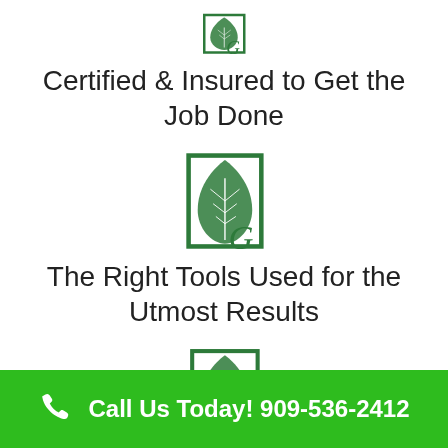[Figure (logo): Green leaf and letter G logo mark, partially cropped at top]
Certified & Insured to Get the Job Done
[Figure (logo): Green leaf and letter G logo, full size]
The Right Tools Used for the Utmost Results
[Figure (logo): Green leaf and letter G logo, medium size]
Call Us Today! 909-536-2412